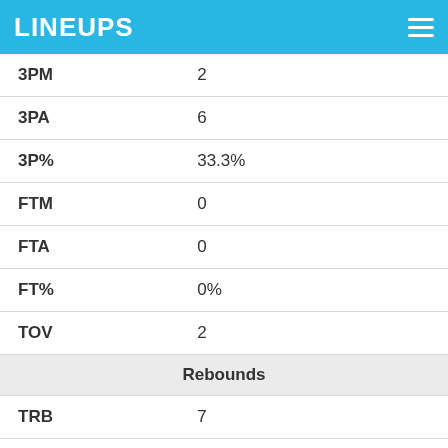LINEUPS
| Stat | Value |
| --- | --- |
| 3PM | 2 |
| 3PA | 6 |
| 3P% | 33.3% |
| FTM | 0 |
| FTA | 0 |
| FT% | 0% |
| TOV | 2 |
| Rebounds |  |
| TRB | 7 |
| ORB | 0 |
| DRB | 7 |
| Defense |  |
| STL | 2 |